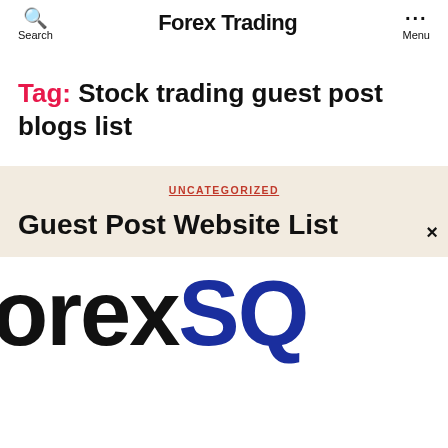Search   Forex Trading   Menu
Tag: Stock trading guest post blogs list
UNCATEGORIZED
Guest Post Website List ×
[Figure (logo): Partial logo showing text 'orexSQ' in large bold font, 'orex' in black and 'SQ' in dark navy blue, cropped at the right edge.]